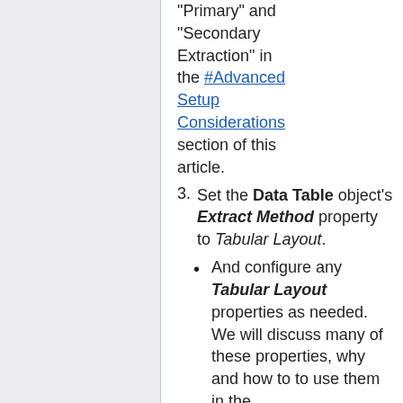"Primary" and "Secondary Extraction" in the #Advanced Setup Considerations section of this article.
Set the Data Table object's Extract Method property to Tabular Layout.
And configure any Tabular Layout properties as needed. We will discuss many of these properties, why and how to to use them in the